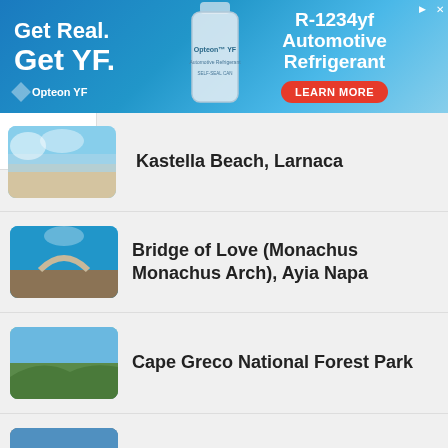[Figure (screenshot): Advertisement banner for Opteon YF R-1234yf Automotive Refrigerant with blue background, product bottle image, and 'Learn More' button]
Kastella Beach, Larnaca
Bridge of Love (Monachus Monachus Arch), Ayia Napa
Cape Greco National Forest Park
Cape Greco Peninsula
Ayia Napa Marina
4 SHARES
[Figure (screenshot): Social sharing bar with Facebook, Twitter, LinkedIn, Pinterest, and More buttons]